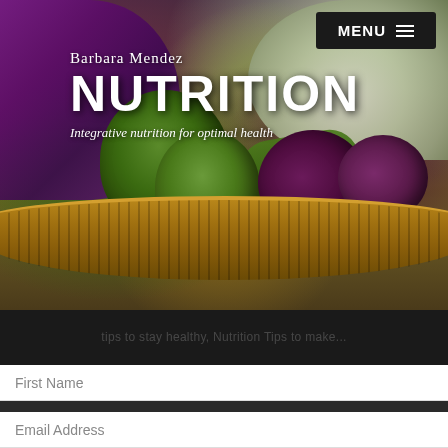[Figure (photo): Hero image of a wicker basket filled with colorful vegetables including green squash/zucchini, purple beets with roots, green beans, purple cabbage leaves, and cauliflower against a dark background]
MENU ≡
Barbara Mendez NUTRITION
Integrative nutrition for optimal health
tips to stay healthy, Nutrition Tips to make...
First Name
Email Address